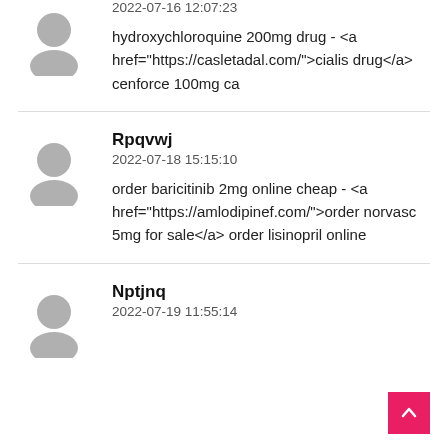2022-07-16 12:07:23
hydroxychloroquine 200mg drug - <a href="https://casletadal.com/">cialis drug</a> cenforce 100mg ca
Rpqvwj
2022-07-18 15:15:10
order baricitinib 2mg online cheap - <a href="https://amlodipinef.com/">order norvasc 5mg for sale</a> order lisinopril online
Nptjnq
2022-07-19 11:55:14